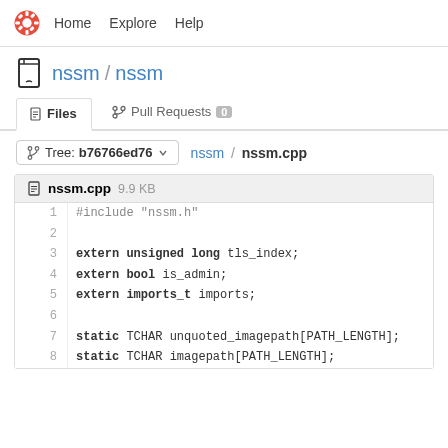Home   Explore   Help
nssm / nssm
Files   Pull Requests 0
Tree: b76766ed76   nssm / nssm.cpp
nssm.cpp 9.9 KB
1  #include "nssm.h"
2  
3  extern unsigned long tls_index;
4  extern bool is_admin;
5  extern imports_t imports;
6  
7  static TCHAR unquoted_imagepath[PATH_LENGTH];
8  static TCHAR imagepath[PATH_LENGTH];